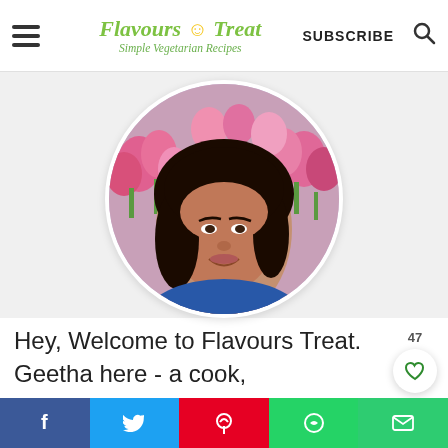Flavours Treat - Simple Vegetarian Recipes | SUBSCRIBE
[Figure (photo): Circular profile photo of Geetha, a woman with dark hair, smiling, with pink tulip flowers in the background. She is wearing a blue top.]
47
Hey, Welcome to Flavours Treat. Geetha here - a cook, photographer, videographer,
f  t  p  WhatsApp  email